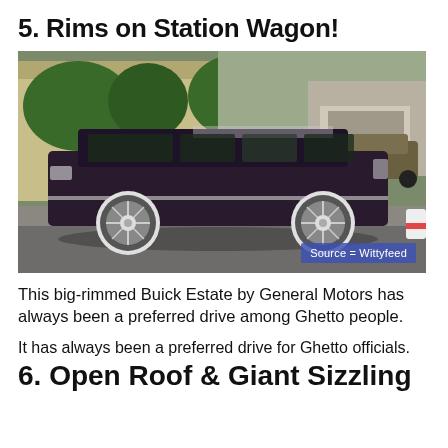5. Rims on Station Wagon!
[Figure (photo): A dark purple/maroon Buick Estate station wagon with large chrome spinner rims parked on a suburban driveway. A house and garage are visible in the background, along with another car. Source = Wittyfeed watermark in bottom right.]
This big-rimmed Buick Estate by General Motors has always been a preferred drive among Ghetto people.
It has always been a preferred drive for Ghetto officials.
6. Open Roof & Giant Sizzling